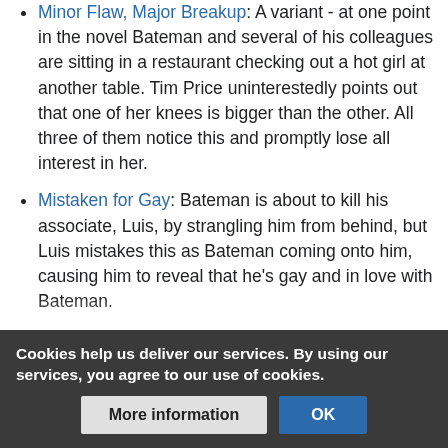Minor Flaw, Major Breakup: A variant - at one point in the novel Bateman and several of his colleagues are sitting in a restaurant checking out a hot girl at another table. Tim Price uninterestedly points out that one of her knees is bigger than the other. All three of them notice this and promptly lose all interest in her.
Mistaken for Gay: Bateman is about to kill his associate, Luis, by strangling him from behind, but Luis mistakes this as Bateman coming onto him, causing him to reveal that he's gay and in love with Bateman.
Mistaken Identity: Many times, but most notably Paul Owen always mistakes Patrick to Marcus Halberstam and Patrick puts effort into maintaining this illusion, even calling Owen's fiancee "Cecelia" when Owen is actually dating Marcus Halberstam's girlfriend.
The most insane example of this is when Bateman...
Cookies help us deliver our services. By using our services, you agree to our use of cookies.